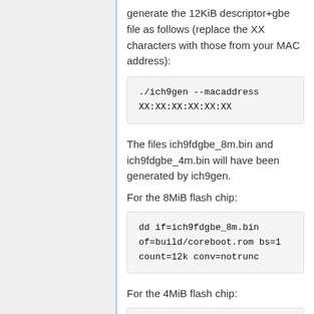generate the 12KiB descriptor+gbe file as follows (replace the XX characters with those from your MAC address):
./ich9gen --macaddress XX:XX:XX:XX:XX:XX
The files ich9fdgbe_8m.bin and ich9fdgbe_4m.bin will have been generated by ich9gen.
For the 8MiB flash chip:
dd if=ich9fdgbe_8m.bin of=build/coreboot.rom bs=1 count=12k conv=notrunc
For the 4MiB flash chip:
dd if=ich9fdgbe_4m.bin of=build/coreboot.rom bs=1